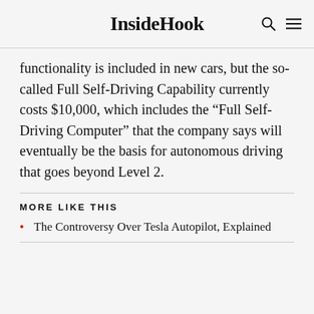InsideHook
functionality is included in new cars, but the so-called Full Self-Driving Capability currently costs $10,000, which includes the “Full Self-Driving Computer” that the company says will eventually be the basis for autonomous driving that goes beyond Level 2.
MORE LIKE THIS
The Controversy Over Tesla Autopilot, Explained